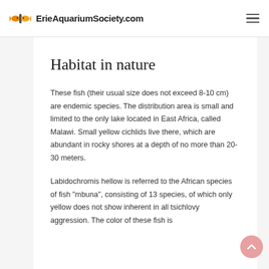ErieAquariumSociety.com
Habitat in nature
These fish (their usual size does not exceed 8-10 cm) are endemic species. The distribution area is small and limited to the only lake located in East Africa, called Malawi. Small yellow cichlids live there, which are abundant in rocky shores at a depth of no more than 20-30 meters.
Labidochromis hellow is referred to the African species of fish "mbuna", consisting of 13 species, of which only yellow does not show inherent in all tsichlovy aggression. The color of these fish is